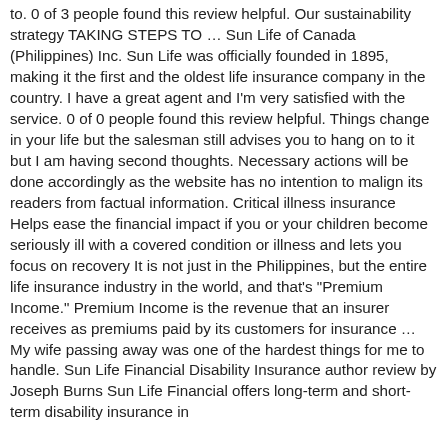to. 0 of 3 people found this review helpful. Our sustainability strategy TAKING STEPS TO … Sun Life of Canada (Philippines) Inc. Sun Life was officially founded in 1895, making it the first and the oldest life insurance company in the country. I have a great agent and I'm very satisfied with the service. 0 of 0 people found this review helpful. Things change in your life but the salesman still advises you to hang on to it but I am having second thoughts. Necessary actions will be done accordingly as the website has no intention to malign its readers from factual information. Critical illness insurance Helps ease the financial impact if you or your children become seriously ill with a covered condition or illness and lets you focus on recovery It is not just in the Philippines, but the entire life insurance industry in the world, and that's "Premium Income." Premium Income is the revenue that an insurer receives as premiums paid by its customers for insurance … My wife passing away was one of the hardest things for me to handle. Sun Life Financial Disability Insurance author review by Joseph Burns Sun Life Financial offers long-term and short-term disability insurance in